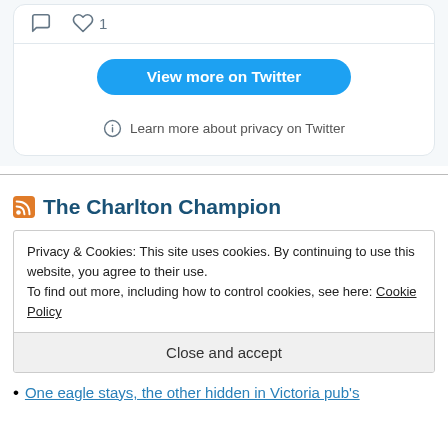[Figure (screenshot): Twitter embed card bottom section showing comment icon, heart icon with count '1', 'View more on Twitter' blue button, and 'Learn more about privacy on Twitter' link with info icon]
Privacy & Cookies: This site uses cookies. By continuing to use this website, you agree to their use.
To find out more, including how to control cookies, see here: Cookie Policy
Close and accept
The Charlton Champion
One eagle stays, the other hidden in Victoria pub's